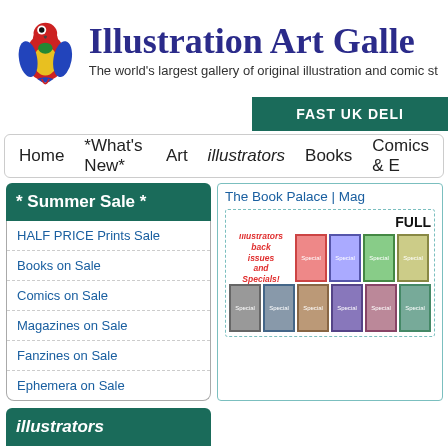[Figure (logo): Illustration Art Gallery logo with red/yellow parrot and bold navy blue serif title text]
Illustration Art Galle
The world's largest gallery of original illustration and comic st
FAST UK DELI
Home  *What's New*  Art  illustrators  Books  Comics & E
* Summer Sale *
HALF PRICE Prints Sale
Books on Sale
Comics on Sale
Magazines on Sale
Fanzines on Sale
Ephemera on Sale
The Book Palace | Mag
FULL
[Figure (illustration): Grid of illustrators magazine back issues and specials covers]
illustrators